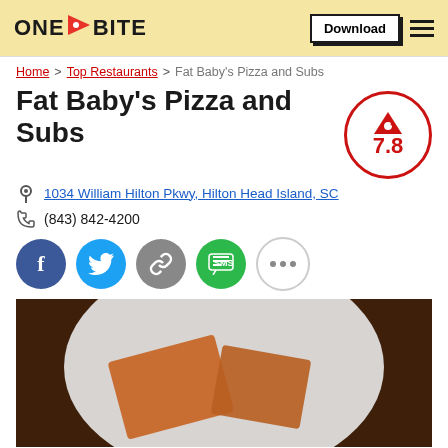ONE BITE | Download
Home > Top Restaurants > Fat Baby's Pizza and Subs
Fat Baby's Pizza and Subs
1034 William Hilton Pkwy, Hilton Head Island, SC
(843) 842-4200
[Figure (infographic): Rating badge showing score 7.8 with pizza icon in red circle]
[Figure (photo): Photo of pizza/food on a white plate on a wooden table]